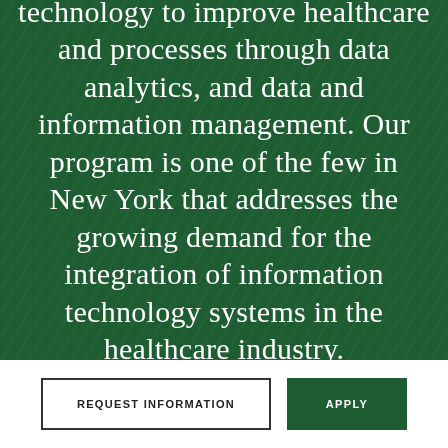technology to improve healthcare and processes through data analytics, and data and information management. Our program is one of the few in New York that addresses the growing demand for the integration of information technology systems in the healthcare industry.
REQUEST INFORMATION
APPLY